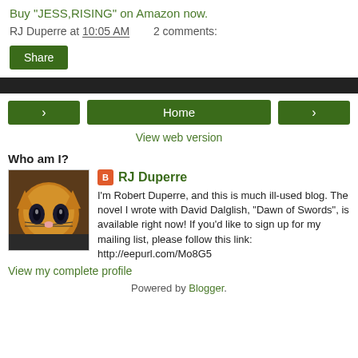Buy "JESS,RISING" on Amazon now.
RJ Duperre at 10:05 AM   2 comments:
Share
Home
View web version
Who am I?
RJ Duperre
I'm Robert Duperre, and this is much ill-used blog. The novel I wrote with David Dalglish, "Dawn of Swords", is available right now! If you'd like to sign up for my mailing list, please follow this link: http://eepurl.com/Mo8G5
View my complete profile
Powered by Blogger.